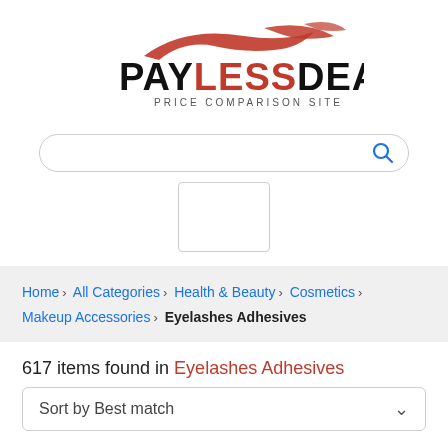[Figure (logo): PayLessDeal logo with red feather/brush stroke above bold text PAYLESSDEAL and tagline PRICE COMPARISON SITE]
[Figure (screenshot): Search bar with rounded corners and blue search icon on the right]
[Figure (other): Empty placeholder rectangle box]
Home > All Categories > Health & Beauty > Cosmetics > Makeup Accessories > Eyelashes Adhesives
617 items found in Eyelashes Adhesives
Sort by Best match
Eyelashes Adhesives Australia